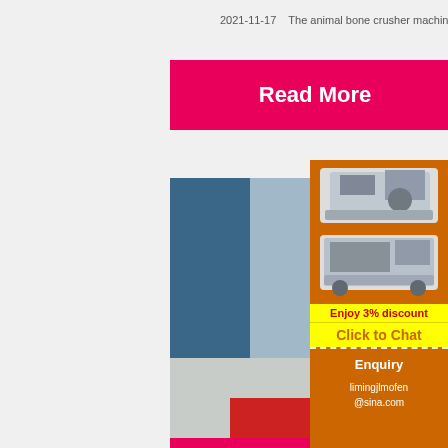2021-11-17   The animal bone crusher machine i…
[Figure (screenshot): Pink 'Read More' button]
[Figure (screenshot): Live Chat overlay on workers image with 'LIVE CHAT', 'Click for a Free Consultation', 'Chat now' and 'Chat later' buttons]
Processing Machinery
2021-11-14   Bone Crusher can grind diff…
[Figure (screenshot): Right sidebar with orange background, machinery images, 'Enjoy 3% discount', 'Click to Chat', 'Enquiry', and email limingjlmofen@sina.com]
[Figure (screenshot): Pink 'Read More' button at bottom]